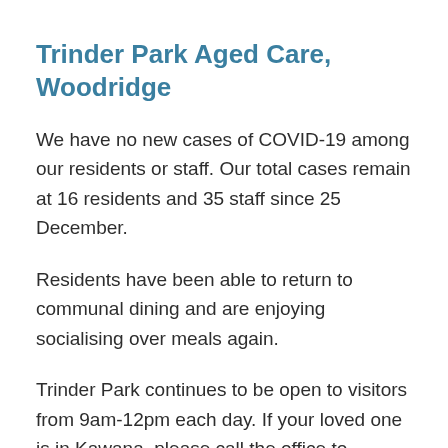Trinder Park Aged Care, Woodridge
We have no new cases of COVID-19 among our residents or staff. Our total cases remain at 16 residents and 35 staff since 25 December.
Residents have been able to return to communal dining and are enjoying socialising over meals again.
Trinder Park continues to be open to visitors from 9am-12pm each day. If your loved one is in Kawana, please call the office to arrange a meeting date.